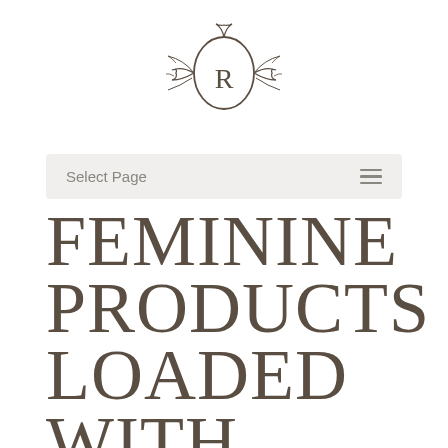[Figure (logo): Decorative circular logo with letter R inside an ornamental oval frame with floral/leaf flourishes on sides, in dark brown/taupe color]
Select Page
FEMININE PRODUCTS LOADED WITH